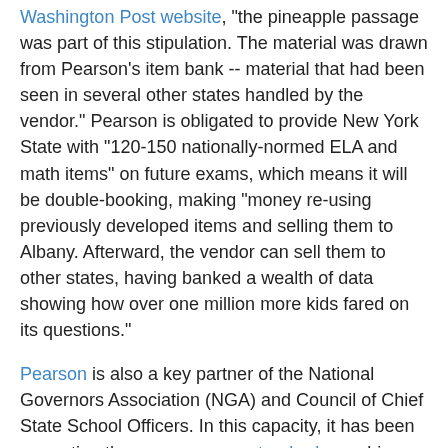Washington Post website, "the pineapple passage was part of this stipulation. The material was drawn from Pearson's item bank -- material that had been seen in several other states handled by the vendor." Pearson is obligated to provide New York State with "120-150 nationally-normed ELA and math items" on future exams, which means it will be double-booking, making "money re-using previously developed items and selling them to Albany. Afterward, the vendor can sell them to other states, having banked a wealth of data showing how over one million more kids fared on its questions."
Pearson is also a key partner of the National Governors Association (NGA) and Council of Chief State School Officers. In this capacity, it has been promoting the common core standards, pushing Singapore as a model for education in the United States and promoting conferences for educational officials where they have "the opportunity to explore emerging international methods, best practices, and policies with an eye to the ways in which they may apply to their local education contexts." A number of state governments, including Illinois, are now investigating whether it is worth participating and if so, by Pearson...